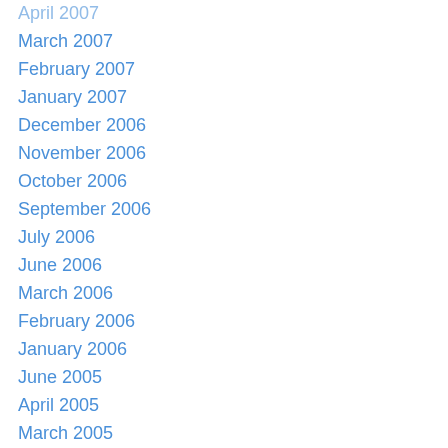April 2007
March 2007
February 2007
January 2007
December 2006
November 2006
October 2006
September 2006
July 2006
June 2006
March 2006
February 2006
January 2006
June 2005
April 2005
March 2005
February 2005
January 2005
November 2004
October 2004